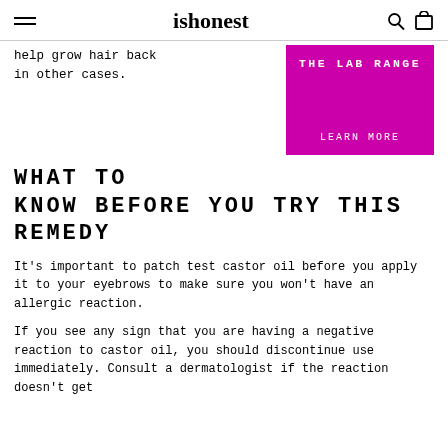ishonest
help grow hair back in other cases.
[Figure (infographic): Magenta/pink promotional banner for 'THE LAB RANGE' with a 'LEARN MORE' link at the bottom]
WHAT TO KNOW BEFORE YOU TRY THIS REMEDY
It’s important to patch test castor oil before you apply it to your eyebrows to make sure you won’t have an allergic reaction.
If you see any sign that you are having a negative reaction to castor oil, you should discontinue use immediately. Consult a dermatologist if the reaction doesn’t get